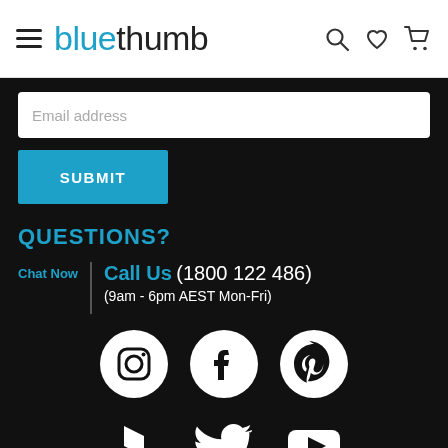bluethumb
Email address
SUBMIT
QUESTIONS?
Chat Now | Call Us (1800 122 486) (9am - 6pm AEST Mon-Fri)
[Figure (logo): Social media icons: Instagram, Facebook, Pinterest, Houzz, Twitter, YouTube]